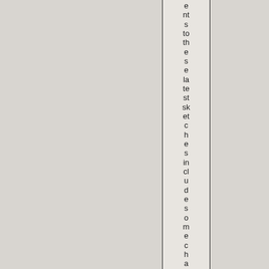ents to these latest sketches includes some mechanang